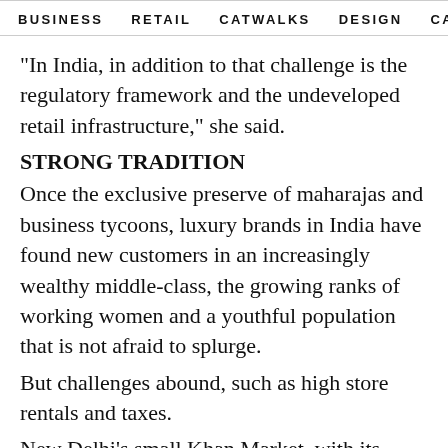BUSINESS   RETAIL   CATWALKS   DESIGN   CAMI  >
"In India, in addition to that challenge is the regulatory framework and the undeveloped retail infrastructure," she said.
STRONG TRADITION
Once the exclusive preserve of maharajas and business tycoons, luxury brands in India have found new customers in an increasingly wealthy middle-class, the growing ranks of working women and a youthful population that is not afraid to splurge.
But challenges abound, such as high store rentals and taxes.
New Delhi's small Khan Market, with its decrepit buildings, was recently ranked among the world's most expensive retail real estate, where monthly rental is 1,200 rupees ($25) per square foot, higher than better equipped...